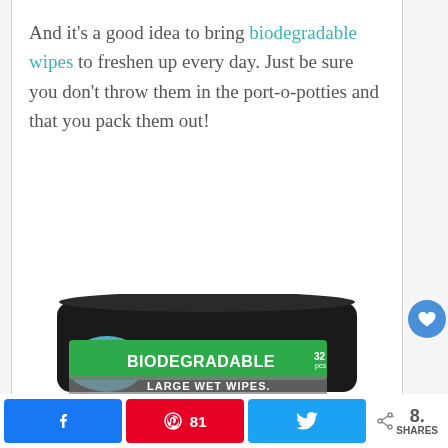And it's a good idea to bring biodegradable wipes to freshen up every day. Just be sure you don't throw them in the port-o-potties and that you pack them out!
[Figure (photo): Package of biodegradable large wet wipes, 32 count, with green label on black packaging]